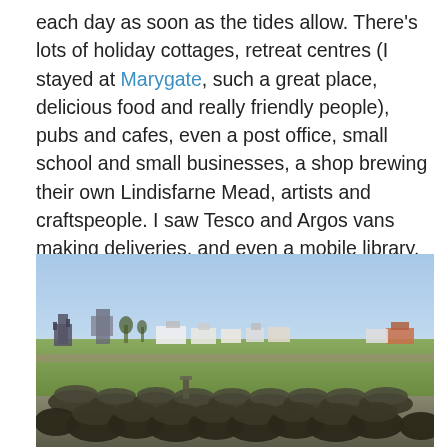each day as soon as the tides allow. There's lots of holiday cottages, retreat centres (I stayed at Marygate, such a great place, delicious food and really friendly people), pubs and cafes, even a post office, small school and small businesses, a shop brewing their own Lindisfarne Mead, artists and craftspeople. I saw Tesco and Argos vans making deliveries, and even a mobile library. And all this week, there's been an ice-cream van parked on the road to the castle, and he's done great business!
[Figure (photo): Landscape photo of Holy Island (Lindisfarne) showing a wide open green field with lobster pots/crab traps stacked in the foreground, a low stone wall in the middle distance, houses and a ruined castle silhouette visible on the horizon under a pale blue sky.]